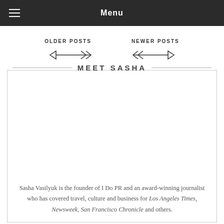Menu
OLDER POSTS
NEWER POSTS
MEET SASHA
Sasha Vasilyuk is the founder of I Do PR and an award-winning journalist who has covered travel, culture and business for Los Angeles Times, Newsweek, San Francisco Chronicle and others.